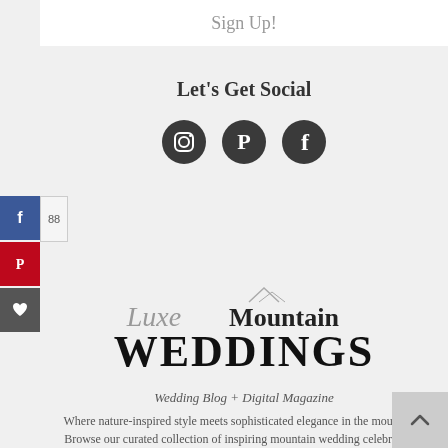Sign Up!
Let's Get Social
[Figure (illustration): Three circular dark social media icons: Instagram, Pinterest, Facebook]
[Figure (logo): Luxe Mountain Weddings logo with script and serif lettering and mountain peaks graphic]
Wedding Blog + Digital Magazine
Where nature-inspired style meets sophisticated elegance in the mountains. Browse our curated collection of inspiring mountain wedding celebrations.